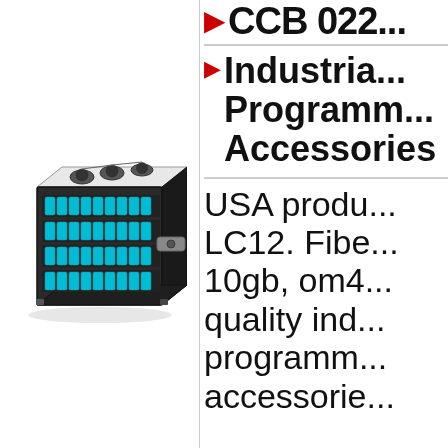CCB 022...
Industrial Programmable Accessories
[Figure (photo): Photo of a rack-mount fiber optic patch panel unit with teal/aqua LC connectors arranged in rows on the front, and black circular port labels on top.]
USA produ... LC12. Fibe... 10gb, om4... quality ind... programm... accessorie...